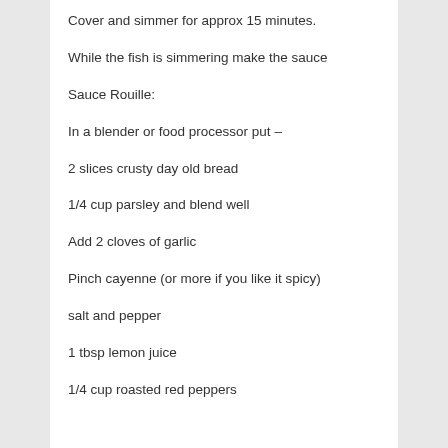Cover and simmer for approx 15 minutes.
While the fish is simmering make the sauce
Sauce Rouille:
In a blender or food processor put –
2 slices crusty day old bread
1/4 cup parsley and blend well
Add 2 cloves of garlic
Pinch cayenne (or more if you like it spicy)
salt and pepper
1 tbsp lemon juice
1/4 cup roasted red peppers